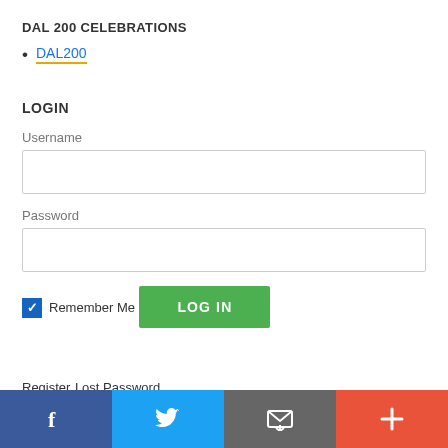DAL 200 CELEBRATIONS
DAL200
LOGIN
Username
Password
Remember Me
LOG IN
Register
Lost Password